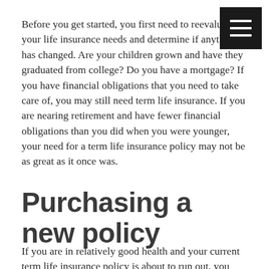[Figure (other): Hamburger menu button icon — three horizontal white lines on a dark square background, positioned in the top-right corner]
Before you get started, you first need to reevaluate your life insurance needs and determine if anything has changed. Are your children grown and have they graduated from college? Do you have a mortgage? If you have financial obligations that you need to take care of, you may still need term life insurance. If you are nearing retirement and have fewer financial obligations than you did when you were younger, your need for a term life insurance policy may not be as great as it once was.
Purchasing a new policy
If you are in relatively good health and your current term life insurance policy is about to run out, you might consider